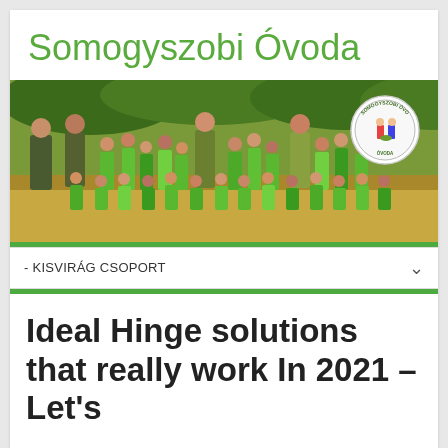Somogyszobi Óvoda
[Figure (photo): Group photo of kindergarten children and teachers in green shirts outdoors, with a circular logo overlay in the top right corner reading 'Somogyszobi Óvoda' with cartoon figures.]
- KISVIRÁG CSOPORT
Ideal Hinge solutions that really work In 2021 – Let's